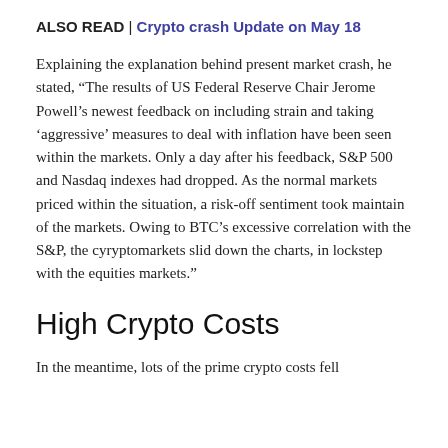ALSO READ | Crypto crash Update on May 18
Explaining the explanation behind present market crash, he stated, “The results of US Federal Reserve Chair Jerome Powell’s newest feedback on including strain and taking ‘aggressive’ measures to deal with inflation have been seen within the markets. Only a day after his feedback, S&P 500 and Nasdaq indexes had dropped. As the normal markets priced within the situation, a risk-off sentiment took maintain of the markets. Owing to BTC’s excessive correlation with the S&P, the cyryptomarkets slid down the charts, in lockstep with the equities markets.”
High Crypto Costs
In the meantime, lots of the prime crypto costs fell